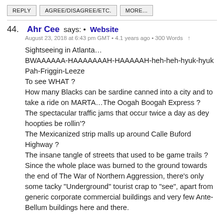REPLY
AGREE/DISAGREE/ETC.
MORE...
44. Ahr Cee says: • Website
August 23, 2018 at 6:43 pm GMT • 4.1 years ago • 300 Words ↑

Sightseeing in Atlanta…
BWAAAAAAAA-HAAAAAAAH-HAAAAAH-heh-heh-hyuk-hyuk
Pah-Friggin-Leeze
To see WHAT ?
How many Blacks can be sardine canned into a city and to take a ride on MARTA…The Oogah Boogah Express ?
The spectacular traffic jams that occur twice a day as dey hoopties be rollin'?
The Mexicanized strip malls up around Calle Buford Highway ?
The insane tangle of streets that used to be game trails ?
Since the whole place was burned to the ground towards the end of The War of Northern Aggression, there's only some tacky "Underground" tourist crap to "see", apart from generic corporate commercial buildings and very few Ante-Bellum buildings here and there.